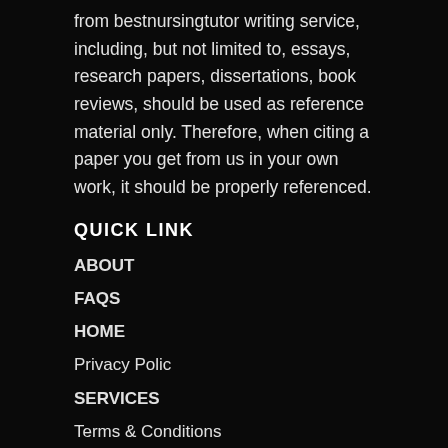from bestnursingtutor writing service, including, but not limited to, essays, research papers, dissertations, book reviews, should be used as reference material only. Therefore, when citing a paper you get from us in your own work, it should be properly referenced.
QUICK LINK
ABOUT
FAQS
HOME
Privacy Polic
SERVICES
Terms & Conditions